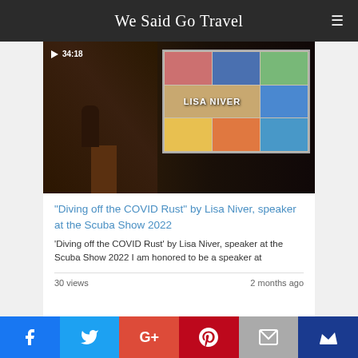We Said Go Travel
[Figure (screenshot): Video thumbnail showing a person speaking at a podium with a projection screen displaying 'LISA NIVER' and various news media photos. Video duration shown as 34:18.]
"Diving off the COVID Rust" by Lisa Niver, speaker at the Scuba Show 2022
'Diving off the COVID Rust' by Lisa Niver, speaker at the Scuba Show 2022 I am honored to be a speaker at
30 views
2 months ago
Social share buttons: Facebook, Twitter, Google+, Pinterest, Email, Crown